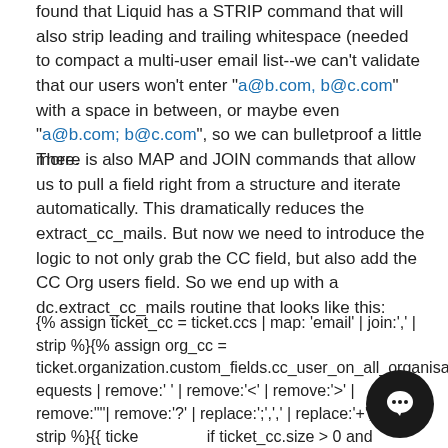found that Liquid has a STRIP command that will also strip leading and trailing whitespace (needed to compact a multi-user email list--we can't validate that our users won't enter "a@b.com, b@c.com" with a space in between, or maybe even "a@b.com; b@c.com", so we can bulletproof a little more.
There is also MAP and JOIN commands that allow us to pull a field right from a structure and iterate automatically. This dramatically reduces the extract_cc_mails. But now we need to introduce the logic to not only grab the CC field, but also add the CC Org users field. So we end up with a dc.extract_cc_mails routine that looks like this:
{% assign ticket_cc = ticket.ccs | map: 'email' | join:',' | strip %}{%  assign org_cc = ticket.organization.custom_fields.cc_user_on_all_organisation_requests | remove:' ' | remove:'<' | remove:'>' | remove:'"' | remove:'?' | replace:';',',' | replace:'+','%2B' | strip %}{{ ticket_cc }}{% if ticket_cc.size > 0 and org_cc.size > 0 %},{% endif %}{{ org_cc }}